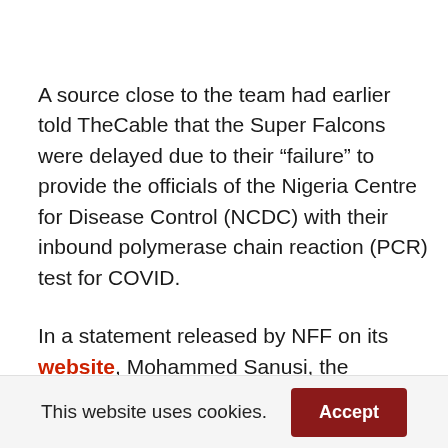A source close to the team had earlier told TheCable that the Super Falcons were delayed due to their “failure” to provide the officials of the Nigeria Centre for Disease Control (NCDC) with their inbound polymerase chain reaction (PCR) test for COVID.
In a statement released by NFF on its website, Mohammed Sanusi, the federation’s general secretary, confirmed that the delay had to do with
This website uses cookies.